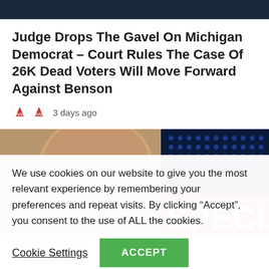[Figure (photo): Dark banner/header image at top of page]
Judge Drops The Gavel On Michigan Democrat – Court Rules The Case Of 26K Dead Voters Will Move Forward Against Benson
3 days ago
[Figure (photo): Composite image showing back of bald man's head on left half and a dark blue dotted background with red SPECIA text on right half]
We use cookies on our website to give you the most relevant experience by remembering your preferences and repeat visits. By clicking “Accept”, you consent to the use of ALL the cookies.
Cookie Settings
ACCEPT